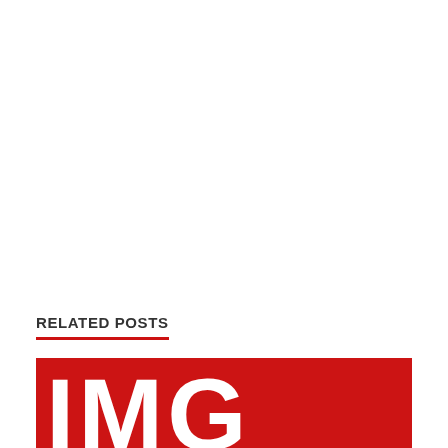RELATED POSTS
[Figure (other): Partial image at the bottom of the page showing large red and white letters 'IMG' or similar typography on a red background, cropped/cut off at the page edge.]